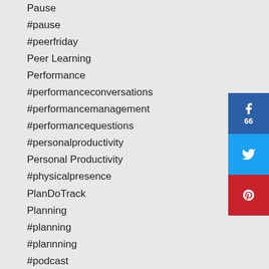Pause
#pause
#peerfriday
Peer Learning
Performance
#performanceconversations
#performancemanagement
#performancequestions
#personalproductivity
Personal Productivity
#physicalpresence
PlanDoTrack
Planning
#planning
#plannning
#podcast
Posts
#poststocheckout
#powerfulquestions
[Figure (infographic): Social sharing buttons: Facebook (66 shares), Twitter, Pinterest]